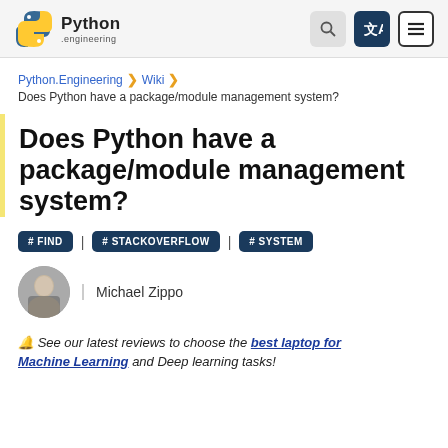Python.Engineering — Wiki navigation header with search, translate, and menu icons
Python.Engineering > Wiki > Does Python have a package/module management system?
Does Python have a package/module management system?
#FIND | #STACKOVERFLOW | #SYSTEM
Michael Zippo
🔔 See our latest reviews to choose the best laptop for Machine Learning and Deep learning tasks!